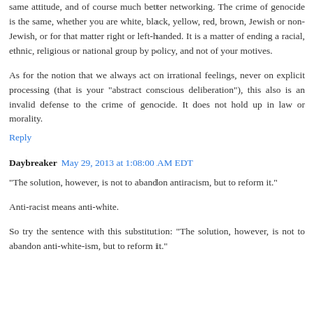same attitude, and of course much better networking. The crime of genocide is the same, whether you are white, black, yellow, red, brown, Jewish or non-Jewish, or for that matter right or left-handed. It is a matter of ending a racial, ethnic, religious or national group by policy, and not of your motives.
As for the notion that we always act on irrational feelings, never on explicit processing (that is your "abstract conscious deliberation"), this also is an invalid defense to the crime of genocide. It does not hold up in law or morality.
Reply
Daybreaker  May 29, 2013 at 1:08:00 AM EDT
"The solution, however, is not to abandon antiracism, but to reform it."
Anti-racist means anti-white.
So try the sentence with this substitution: "The solution, however, is not to abandon anti-white-ism, but to reform it."